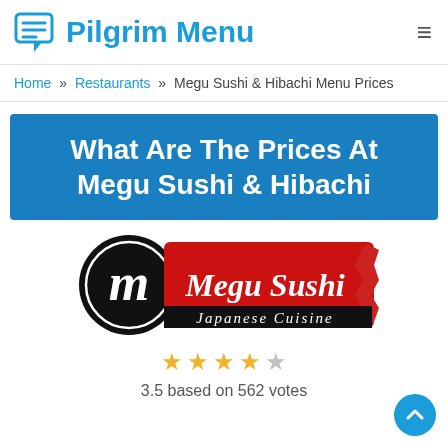Pilgrim Menu
Home » Restaurants » Megu Sushi & Hibachi Menu Prices
What Are The Prices At Megu Sushi & Hibachi
[Figure (logo): Megu Sushi Japanese Cuisine logo with a stylized 'm' in a black circle, red brush stroke background, white italic text reading 'Megu Sushi' and 'Japanese Cuisine']
3.5 based on 562 votes